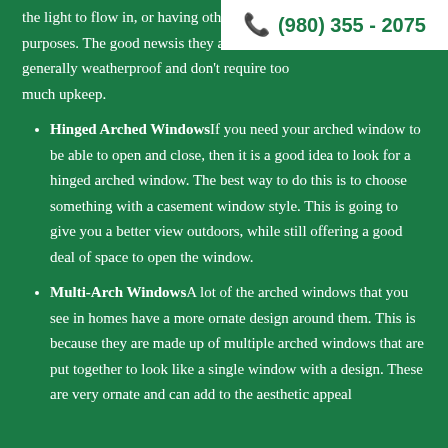the light to flow in, or having other purposes. The good news is they are generally weatherproof and don't require too much upkeep.
(980) 355 - 2075
Hinged Arched WindowsIf you need your arched window to be able to open and close, then it is a good idea to look for a hinged arched window. The best way to do this is to choose something with a casement window style. This is going to give you a better view outdoors, while still offering a good deal of space to open the window.
Multi-Arch WindowsA lot of the arched windows that you see in homes have a more ornate design around them. This is because they are made up of multiple arched windows that are put together to look like a single window with a design. These are very ornate and can add to the aesthetic appeal